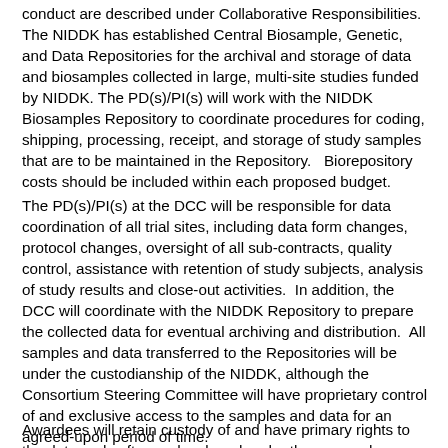conduct are described under Collaborative Responsibilities. The NIDDK has established Central Biosample, Genetic, and Data Repositories for the archival and storage of data and biosamples collected in large, multi-site studies funded by NIDDK. The PD(s)/PI(s) will work with the NIDDK Biosamples Repository to coordinate procedures for coding, shipping, processing, receipt, and storage of study samples that are to be maintained in the Repository.   Biorepository costs should be included within each proposed budget.
The PD(s)/PI(s) at the DCC will be responsible for data coordination of all trial sites, including data form changes, protocol changes, oversight of all sub-contracts, quality control, assistance with retention of study subjects, analysis of study results and close-out activities.  In addition, the DCC will coordinate with the NIDDK Repository to prepare the collected data for eventual archiving and distribution.  All samples and data transferred to the Repositories will be under the custodianship of the NIDDK, although the Consortium Steering Committee will have proprietary control of and exclusive access to the samples and data for an agreed-upon period of time.
Awardees will retain custody of and have primary rights to the data and software developed under these awards,